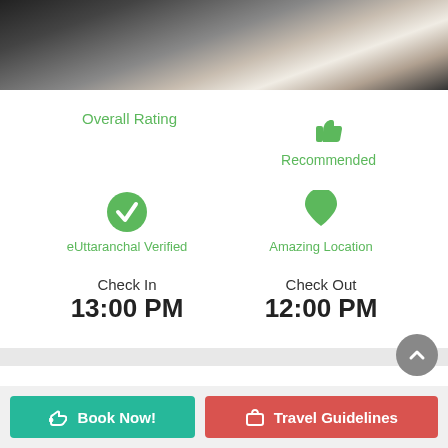[Figure (photo): Hotel room photo showing white bedding and dark furniture at top of page]
Overall Rating
[Figure (infographic): Green thumbs up icon with label 'Recommended']
[Figure (infographic): Green checkmark circle icon with label 'eUttaranchal Verified']
[Figure (infographic): Green heart icon with label 'Amazing Location']
Check In
13:00 PM
Check Out
12:00 PM
Book Now!
Travel Guidelines